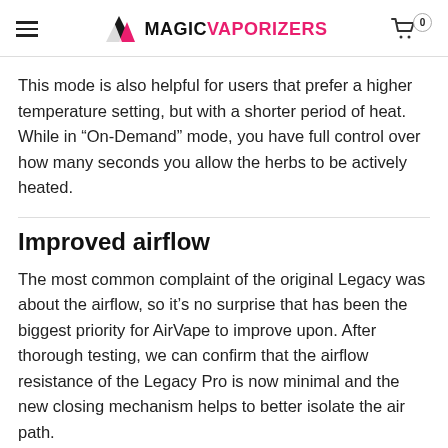MAGICVAPORIZERS
This mode is also helpful for users that prefer a higher temperature setting, but with a shorter period of heat. While in “On-Demand” mode, you have full control over how many seconds you allow the herbs to be actively heated.
Improved airflow
The most common complaint of the original Legacy was about the airflow, so it’s no surprise that has been the biggest priority for AirVape to improve upon. After thorough testing, we can confirm that the airflow resistance of the Legacy Pro is now minimal and the new closing mechanism helps to better isolate the air path.